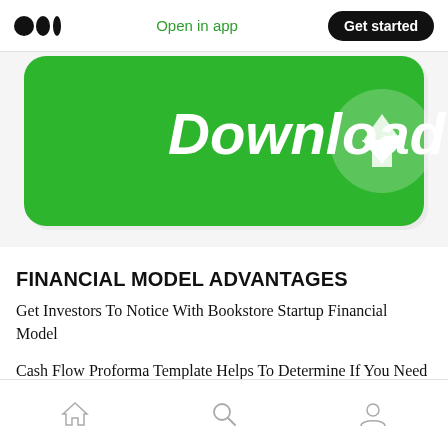Open in app  Get started
[Figure (screenshot): Green download button banner with white 'Download' text and a downward arrow icon on a rounded green rectangle background]
FINANCIAL MODEL ADVANTAGES
Get Investors To Notice With Bookstore Startup Financial Model
Cash Flow Proforma Template Helps To Determine If You Need To Make Adjustments Like Cutting Expenses
Home  Search  Profile